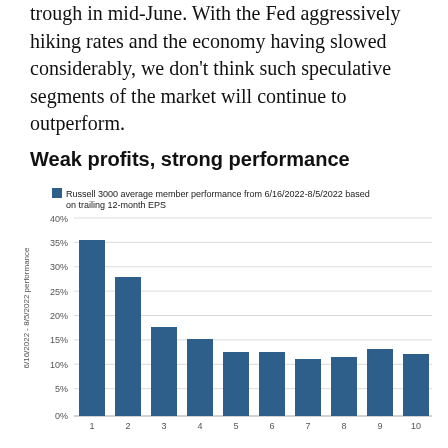trough in mid-June. With the Fed aggressively hiking rates and the economy having slowed considerably, we don't think such speculative segments of the market will continue to outperform.
Weak profits, strong performance
[Figure (bar-chart): Russell 3000 average member performance from 6/16/2022-8/5/2022 based on trailing 12-month EPS]